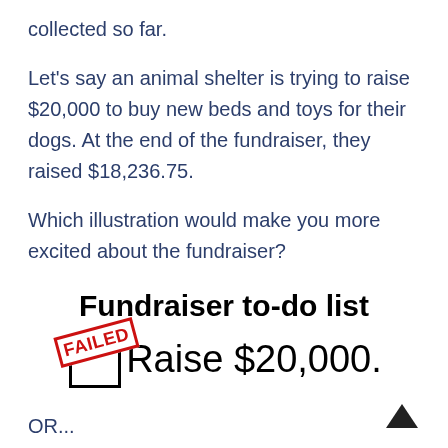collected so far.
Let’s say an animal shelter is trying to raise $20,000 to buy new beds and toys for their dogs. At the end of the fundraiser, they raised $18,236.75.
Which illustration would make you more excited about the fundraiser?
Fundraiser to-do list
[Figure (illustration): A checkbox with a red FAILED stamp overlaid, next to the text 'Raise $20,000.']
OR...